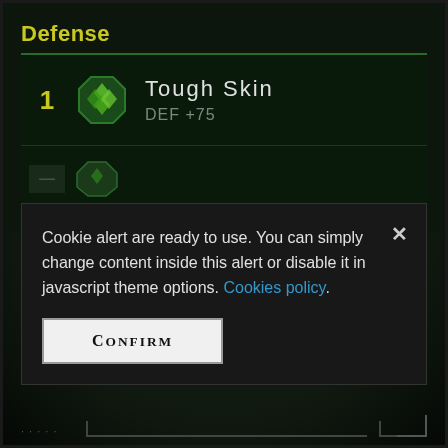Defense
1   Tough Skin
DEF +75
[Figure (screenshot): Partially visible second skill row with green octagon icon]
Cookie alert are ready to use. You can simply change content inside this alert or disable it in javascript theme options. Cookies policy.
CONFIRM